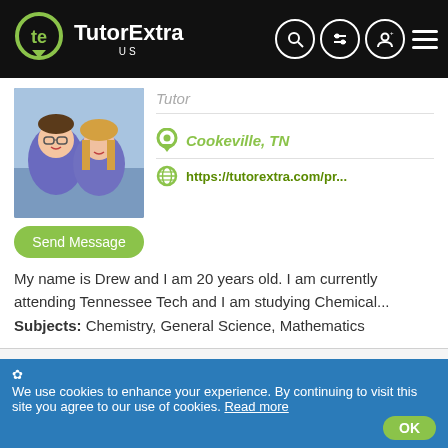TutorExtra US
Tutor
Cookeville, TN
https://tutorextra.com/pr...
Send Message
My name is Drew and I am 20 years old. I am currently attending Tennessee Tech and I am studying Chemical...
Subjects: Chemistry, General Science, Mathematics
Claire K.    $25
Tutor
Buford, GA
We use cookies to enhance your experience. By continuing to visit this site you agree to our use of cookies. Read more  OK